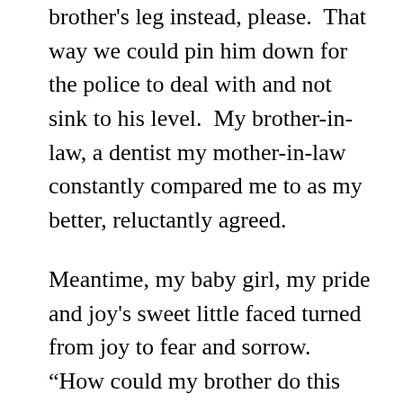brother's leg instead, please.  That way we could pin him down for the police to deal with and not sink to his level.  My brother-in-law, a dentist my mother-in-law constantly compared me to as my better, reluctantly agreed.
Meantime, my baby girl, my pride and joy's sweet little faced turned from joy to fear and sorrow.  “How could my brother do this shit to his sweet niece?” I wondered, infuriated.
The phone rang again and we all almost jumped out of our skin.  I answered this time and the police reported that they had intercepted my brother at a Waukegan bar about half an hour north of Lake Forest.  They said he